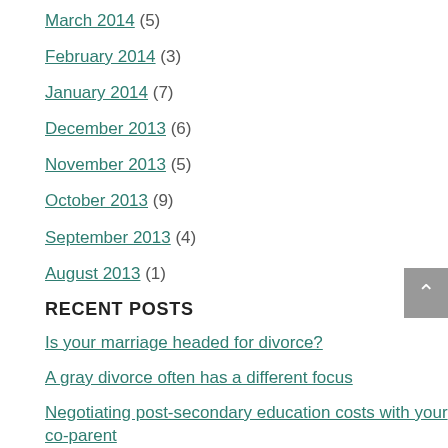March 2014 (5)
February 2014 (3)
January 2014 (7)
December 2013 (6)
November 2013 (5)
October 2013 (9)
September 2013 (4)
August 2013 (1)
RECENT POSTS
Is your marriage headed for divorce?
A gray divorce often has a different focus
Negotiating post-secondary education costs with your co-parent
Why don't people pay child support?